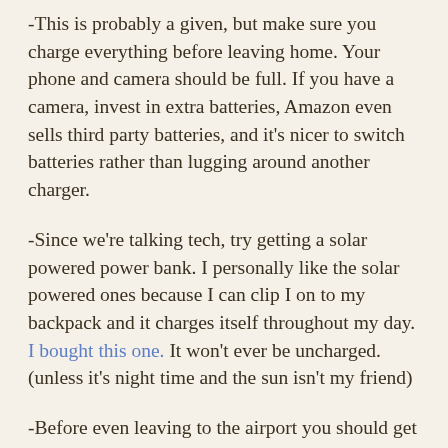-This is probably a given, but make sure you charge everything before leaving home. Your phone and camera should be full. If you have a camera, invest in extra batteries, Amazon even sells third party batteries, and it's nicer to switch batteries rather than lugging around another charger.
-Since we're talking tech, try getting a solar powered power bank. I personally like the solar powered ones because I can clip I on to my backpack and it charges itself throughout my day. I bought this one. It won't ever be uncharged. (unless it's night time and the sun isn't my friend)
-Before even leaving to the airport you should get on Google and download their offline maps. Find the instructions HERE. This has been a huge game changer for me. In some places you don't have access to Internet. When I visited Cuba, I was so glad